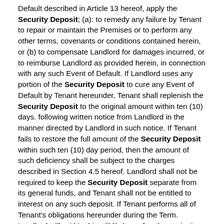Default described in Article 13 hereof, apply the Security Deposit; (a): to remedy any failure by Tenant to repair or maintain the Premises or to perform any other terms, covenants or conditions contained herein, or (b) to compensate Landlord for damages incurred, or to reimburse Landlord as provided herein, in connection with any such Event of Default. If Landlord uses any portion of the Security Deposit to cure any Event of Default by Tenant hereunder, Tenant shall replenish the Security Deposit to the original amount within ten (10) days. following written notice from Landlord in the manner directed by Landlord in such notice. If Tenant fails to restore the full amount of the Security Deposit within such ten (10) day period, then the amount of such deficiency shall be subject to the charges described in Section 4.5 hereof. Landlord shall not be required to keep the Security Deposit separate from its general funds, and Tenant shall not be entitled to interest on any such deposit. If Tenant performs all of Tenant's obligations hereunder during the Term. Landlord will, within thirty (30) days after the expiration or earlier termination of the Lease, return the Security Deposit, or so much as has not been applied